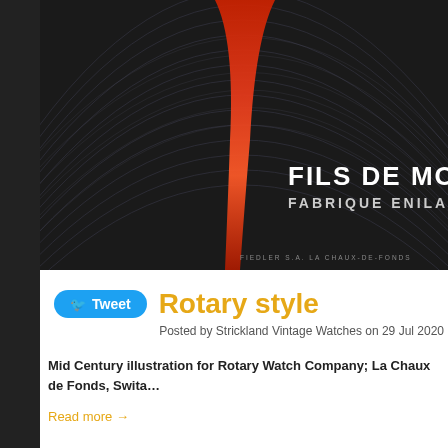[Figure (photo): Dark background with concentric arc lines and an orange/red flame-like vertical shape, with vintage text 'FILS DE MOÏS' and 'FABRIQUE ENILA_L' visible on the right side. Small caption text reads 'FIEDLER S.A. LA CHAUX-DE-FONDS' at bottom.]
Rotary style
Posted by Strickland Vintage Watches on 29 Jul 2020
Mid Century illustration for Rotary Watch Company; La Chaux de Fonds, Swita…
Read more →